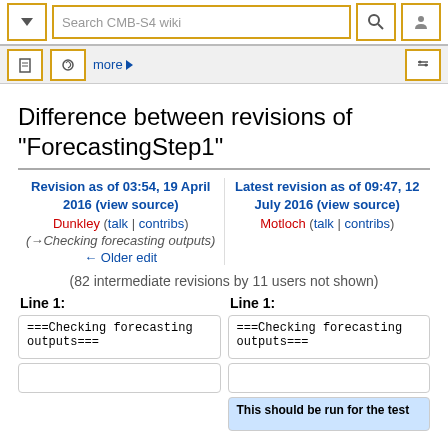Search CMB-S4 wiki
Difference between revisions of "ForecastingStep1"
Revision as of 03:54, 19 April 2016 (view source)
Dunkley (talk | contribs)
(→Checking forecasting outputs)
← Older edit
Latest revision as of 09:47, 12 July 2016 (view source)
Motloch (talk | contribs)
(82 intermediate revisions by 11 users not shown)
Line 1:
Line 1:
| ===Checking forecasting outputs=== |
|  |
| ===Checking forecasting outputs=== |
|  |
| This should be run for the test |